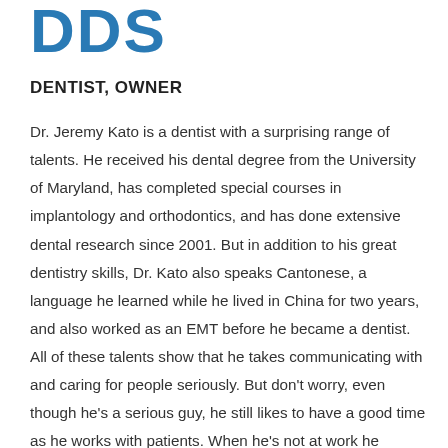DDS
DENTIST, OWNER
Dr. Jeremy Kato is a dentist with a surprising range of talents. He received his dental degree from the University of Maryland, has completed special courses in implantology and orthodontics, and has done extensive dental research since 2001. But in addition to his great dentistry skills, Dr. Kato also speaks Cantonese, a language he learned while he lived in China for two years, and also worked as an EMT before he became a dentist. All of these talents show that he takes communicating with and caring for people seriously. But don't worry, even though he's a serious guy, he still likes to have a good time as he works with patients. When he's not at work he volunteers at his church,